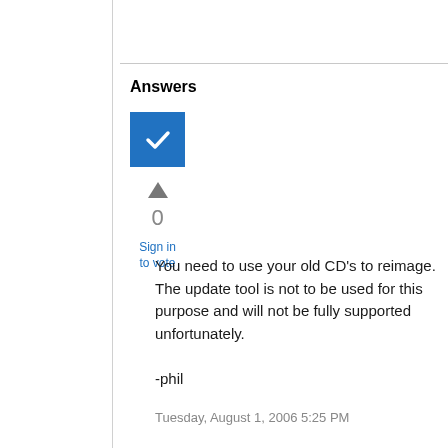Answers
[Figure (illustration): Blue checkbox with white checkmark]
0
Sign in to vote
You need to use your old CD's to reimage. The update tool is not to be used for this purpose and will not be fully supported unfortunately.

-phil
Tuesday, August 1, 2006 5:25 PM